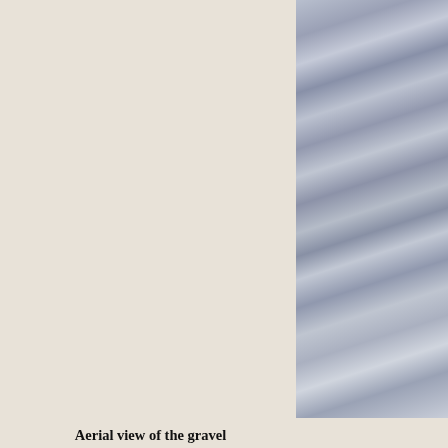[Figure (photo): Aerial view of gravel tailings in a valley, showing ridged snow-covered terrain with dark striation patterns]
Aerial view of the gravel tailings in the valley.
[Figure (photo): Interior industrial photo showing structural beams, pipes, and equipment inside a mining or processing facility, dimly lit with some lights visible]